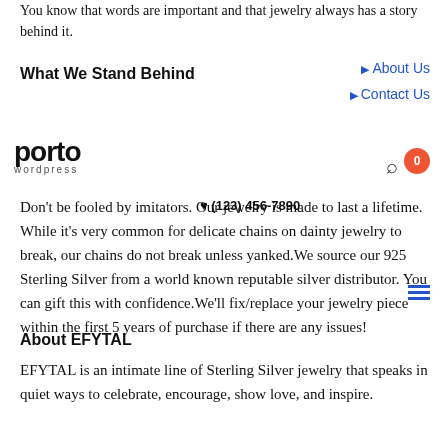You know that words are important and that jewelry always has a story behind it.
What We Stand Behind
[Figure (logo): Porto WordPress logo in top-left area]
About Us
Contact Us
Don't be fooled by imitators. Our jewelry is made to last a lifetime. While it's very common for delicate chains on dainty jewelry to break, our chains do not break unless yanked.We source our 925 Sterling Silver from a world known reputable silver distributor. You can gift this with confidence.We'll fix/replace your jewelry piece within the first 5 years of purchase if there are any issues!
About EFYTAL
EFYTAL is an intimate line of Sterling Silver jewelry that speaks in quiet ways to celebrate, encourage, show love, and inspire.
Each piece has a story behind it, just like each gift for every life milestone has a story behind it.
We celebrate women.